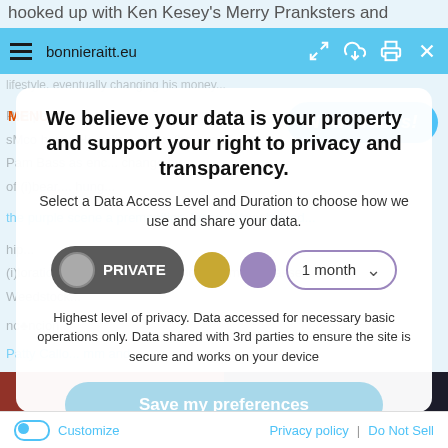hooked up with Ken Kesey's Merry Pranksters and started
bonnieraitt.eu
MENU
New Tracks!
We believe your data is your property and support your right to privacy and transparency.
Select a Data Access Level and Duration to choose how we use and share your data.
PRIVATE
1 month
Highest level of privacy. Data accessed for necessary basic operations only. Data shared with 3rd parties to ensure the site is secure and works on your device
Save my preferences
Customize
Privacy policy  |  Do Not Sell